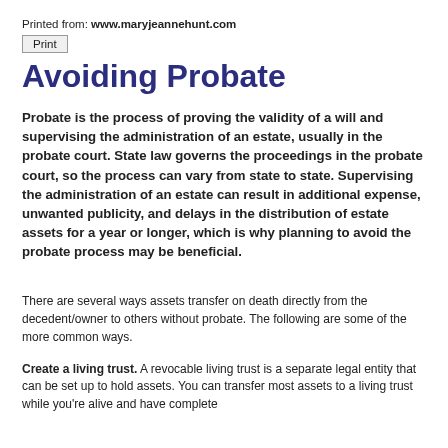Printed from: www.maryjeannehunt.com
Print
Avoiding Probate
Probate is the process of proving the validity of a will and supervising the administration of an estate, usually in the probate court. State law governs the proceedings in the probate court, so the process can vary from state to state. Supervising the administration of an estate can result in additional expense, unwanted publicity, and delays in the distribution of estate assets for a year or longer, which is why planning to avoid the probate process may be beneficial.
There are several ways assets transfer on death directly from the decedent/owner to others without probate. The following are some of the more common ways.
Create a living trust. A revocable living trust is a separate legal entity that can be set up to hold assets. You can transfer most assets to a living trust while you're alive and have complete